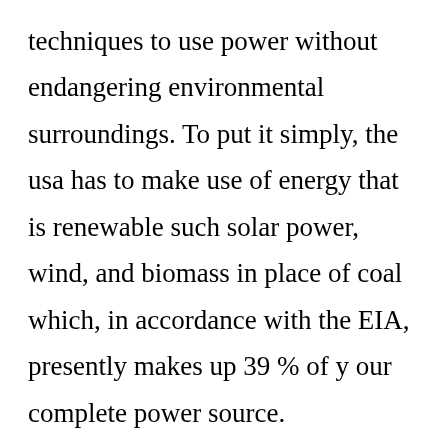techniques to use power without endangering environmental surroundings. To put it simply, the usa has to make use of energy that is renewable such solar power, wind, and biomass in place of coal which, in accordance with the EIA, presently makes up 39 % of y our complete power source. Unfortuitously, coal releases huge amounts of carbon in to the air—the cause that is major of modification. But coal is also the smallest amount of energy that is expensive, operating organizations to utilize coal in place of green power re sources